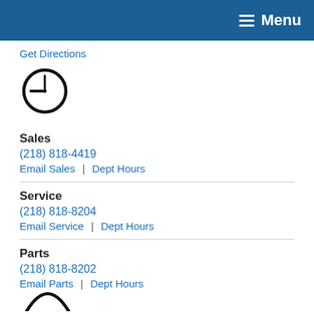Menu
Get Directions
[Figure (illustration): Clock icon (circular clock with hands showing approximately 9 o'clock)]
Sales
(218) 818-4419
Email Sales | Dept Hours
Service
(218) 818-8204
Email Service | Dept Hours
Parts
(218) 818-8202
Email Parts | Dept Hours
[Figure (illustration): Partial view of another icon at the bottom of the page (appears to be a location pin or similar icon, cropped)]